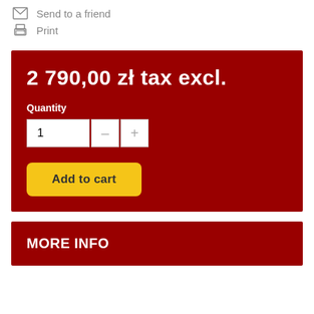Send to a friend
Print
2 790,00 zł tax excl.
Quantity
1
Add to cart
MORE INFO